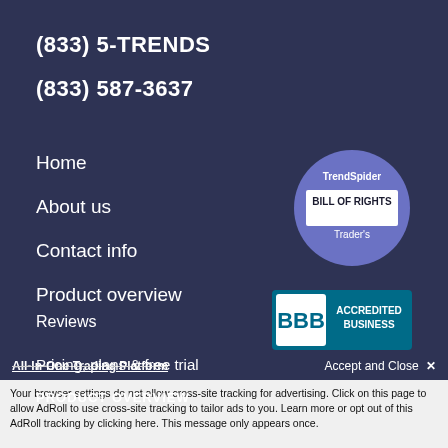(833) 5-TRENDS
(833) 587-3637
Home
About us
Contact info
Product overview
Reviews
Pricing, plans & free trial
[Figure (logo): TrendSpider Trader's Bill of Rights circular badge in purple/blue]
[Figure (logo): BBB Accredited Business badge in teal and white]
PRODUCT OVERVIEW
All-In-One Trading Platform
Accept and Close ✕
Your browser settings do not allow cross-site tracking for advertising. Click on this page to allow AdRoll to use cross-site tracking to tailor ads to you. Learn more or opt out of this AdRoll tracking by clicking here. This message only appears once.